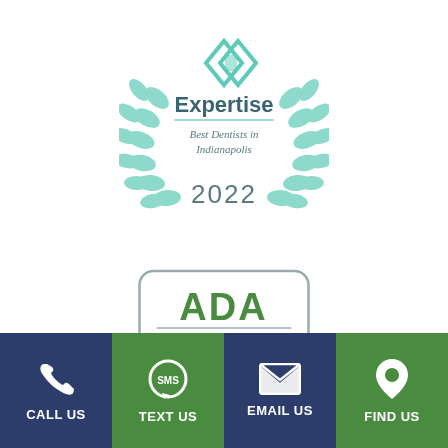[Figure (logo): Expertise award badge - Best Dentists in Indianapolis 2022, with teal diamond logo and laurel wreath]
[Figure (logo): ADA Member badge - American Dental Association logo with rounded rectangle border]
[Figure (infographic): Footer bar with four contact action buttons: CALL US (navy), TEXT US (green), EMAIL US (navy), FIND US (green), each with white icon]